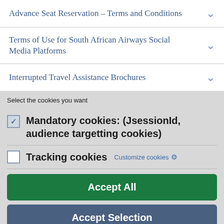Advance Seat Reservation – Terms and Conditions
Terms of Use for South African Airways Social Media Platforms
Interrupted Travel Assistance Brochures
Select the cookies you want
Mandatory cookies: (JsessionId, audience targetting cookies)
Tracking cookies   Customize cookies
Accept All
Accept Selection
Only Mandatory